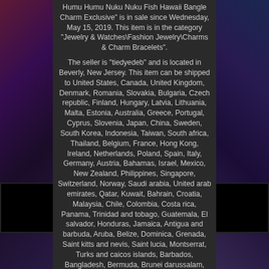Humu Humu Nuku Nuku Fish Hawaii Bangle Charm Exclusive" is in sale since Wednesday, May 15, 2019. This item is in the category "Jewelry & Watches\Fashion Jewelry\Charms & Charm Bracelets".
The seller is "tiedyedeb" and is located in Beverly, New Jersey. This item can be shipped to United States, Canada, United Kingdom, Denmark, Romania, Slovakia, Bulgaria, Czech republic, Finland, Hungary, Latvia, Lithuania, Malta, Estonia, Australia, Greece, Portugal, Cyprus, Slovenia, Japan, China, Sweden, South Korea, Indonesia, Taiwan, South africa, Thailand, Belgium, France, Hong Kong, Ireland, Netherlands, Poland, Spain, Italy, Germany, Austria, Bahamas, Israel, Mexico, New Zealand, Philippines, Singapore, Switzerland, Norway, Saudi arabia, United arab emirates, Qatar, Kuwait, Bahrain, Croatia, Malaysia, Chile, Colombia, Costa rica, Panama, Trinidad and tobago, Guatemala, El salvador, Honduras, Jamaica, Antigua and barbuda, Aruba, Belize, Dominica, Grenada, Saint kitts and nevis, Saint lucia, Montserrat, Turks and caicos islands, Barbados, Bangladesh, Bermuda, Brunei darussalam, Bolivia, Egypt, French guiana, Guernsey, Gibraltar, Guadeloupe, Iceland, Jersey, Jordan, Cambodia, Liechtenstein, Sri lanka, Luxembourg, Monaco, Macao, Martinique, Maldives, Nicaragua, Oman, Pakistan, Paraguay, Reunion, Uruguay, Russian federation.
Country/Region of Manufacture: Thailand Material: